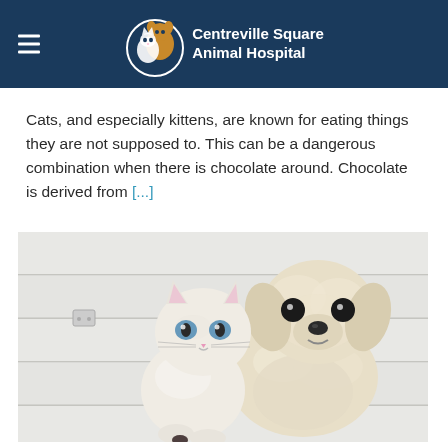Centreville Square Animal Hospital
Cats, and especially kittens, are known for eating things they are not supposed to. This can be a dangerous combination when there is chocolate around. Chocolate is derived from [...]
[Figure (photo): Photo of a white kitten and a fluffy white puppy sitting together against a white wooden background]